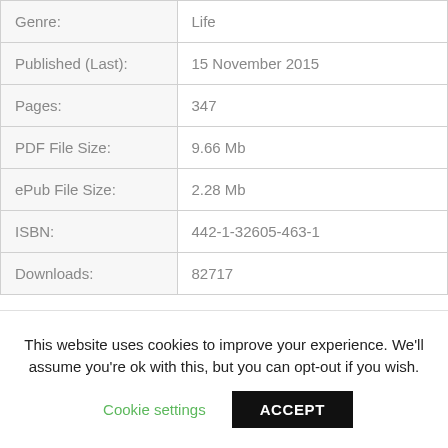| Field | Value |
| --- | --- |
| Genre: | Life |
| Published (Last): | 15 November 2015 |
| Pages: | 347 |
| PDF File Size: | 9.66 Mb |
| ePub File Size: | 2.28 Mb |
| ISBN: | 442-1-32605-463-1 |
| Downloads: | 82717 |
This website uses cookies to improve your experience. We'll assume you're ok with this, but you can opt-out if you wish.
Cookie settings   ACCEPT